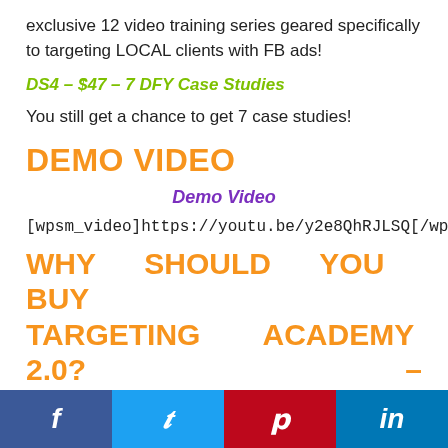exclusive 12 video training series geared specifically to targeting LOCAL clients with FB ads!
DS4 – $47 – 7 DFY Case Studies
You still get a chance to get 7 case studies!
DEMO VIDEO
Demo Video
[wpsm_video]https://youtu.be/y2e8QhRJLSQ[/wpsm_v
WHY SHOULD YOU BUY TARGETING ACADEMY 2.0? – TARGETING ACADEMY 2.0
f  Twitter  p  in